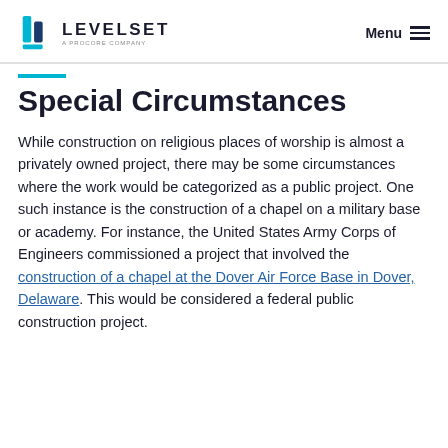LEVELSET — A PROCORE COMPANY | Menu
Special Circumstances
While construction on religious places of worship is almost a privately owned project, there may be some circumstances where the work would be categorized as a public project. One such instance is the construction of a chapel on a military base or academy. For instance, the United States Army Corps of Engineers commissioned a project that involved the construction of a chapel at the Dover Air Force Base in Dover, Delaware. This would be considered a federal public construction project.